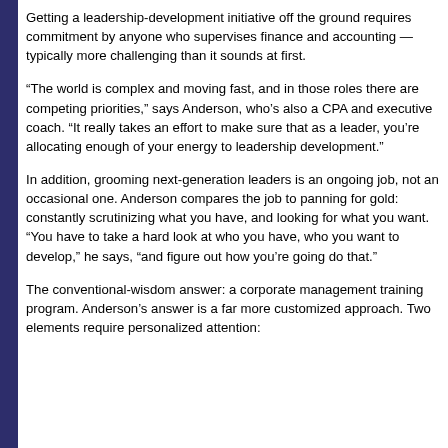Getting a leadership-development initiative off the ground requires commitment by anyone who supervises finance and accounting — typically more challenging than it sounds at first.
“The world is complex and moving fast, and in those roles there are competing priorities,” says Anderson, who’s also a CPA and executive coach. “It really takes an effort to make sure that as a leader, you’re allocating enough of your energy to leadership development.”
In addition, grooming next-generation leaders is an ongoing job, not an occasional one. Anderson compares the job to panning for gold: constantly scrutinizing what you have, and looking for what you want. “You have to take a hard look at who you have, who you want to develop,” he says, “and figure out how you’re going do that.”
The conventional-wisdom answer: a corporate management training program. Anderson’s answer is a far more customized approach. Two elements require personalized attention: